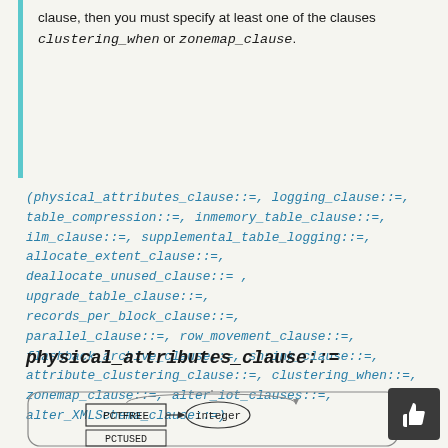clause, then you must specify at least one of the clauses clustering_when or zonemap_clause.
(physical_attributes_clause::=, logging_clause::=, table_compression::=, inmemory_table_clause::=, ilm_clause::=, supplemental_table_logging::=, allocate_extent_clause::=, deallocate_unused_clause::=, upgrade_table_clause::=, records_per_block_clause::=, parallel_clause::=, row_movement_clause::=, flashback_archive_clause::=, shrink_clause::=, attribute_clustering_clause::=, clustering_when::=, zonemap_clause::=, alter_iot_clauses::=, alter_XMLSchema_clause::=)
physical_attributes_clause::=
[Figure (engineering-diagram): Railroad/syntax diagram showing physical_attributes_clause options starting with PCTFREE -> integer path visible]